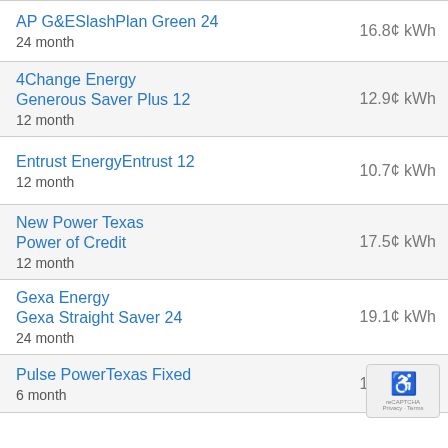AP G&ESlashPlan Green 24 | 24 month | 16.8¢ kWh
4Change Energy Generous Saver Plus 12 | 12 month | 12.9¢ kWh
Entrust EnergyEntrust 12 | 12 month | 10.7¢ kWh
New Power Texas Power of Credit | 12 month | 17.5¢ kWh
Gexa Energy Gexa Straight Saver 24 | 24 month | 19.1¢ kWh
Pulse PowerTexas Fixed | 6 month | 11.8¢ kWh